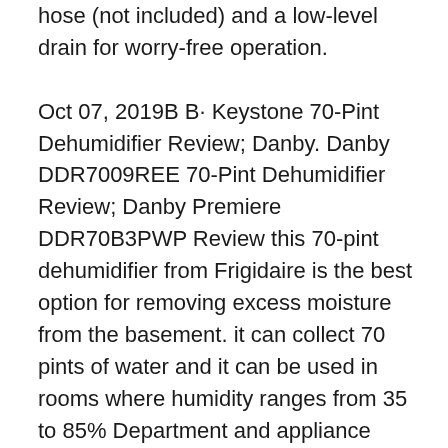hose (not included) and a low-level drain for worry-free operation.

Oct 07, 2019B B· Keystone 70-Pint Dehumidifier Review; Danby. Danby DDR7009REE 70-Pint Dehumidifier Review; Danby Premiere DDR70B3PWP Review this 70-pint dehumidifier from Frigidaire is the best option for removing excess moisture from the basement. it can collect 70 pints of water and it can be used in rooms where humidity ranges from 35 to 85% Department and appliance stores nationwide sold the dehumidifiers from February 1997 through December 2001 for between $130 and $260. Consumers should stop using these dehumidifiers and unplug them immediately. Contact Whirlpool to arrange for a free repair at